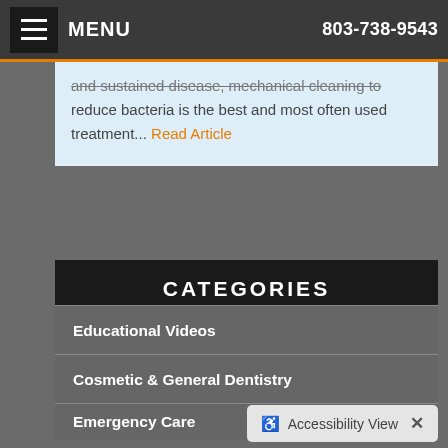MENU   803-738-9543
and sustained disease, mechanical cleaning to reduce bacteria is the best and most often used treatment... Read Article
CATEGORIES
Educational Videos
Cosmetic & General Dentistry
Emergency Care
Endodontics
Implant Dentistry
Oral Health
Accessibility View  ×